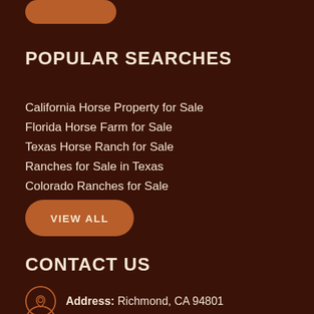POPULAR SEARCHES
California Horse Property for Sale
Florida Horse Farm for Sale
Texas Horse Ranch for Sale
Ranches for Sale in Texas
Colorado Ranches for Sale
VIEW ALL
CONTACT US
Address: Richmond, CA 94801
E-mail: info@horseproperties.net